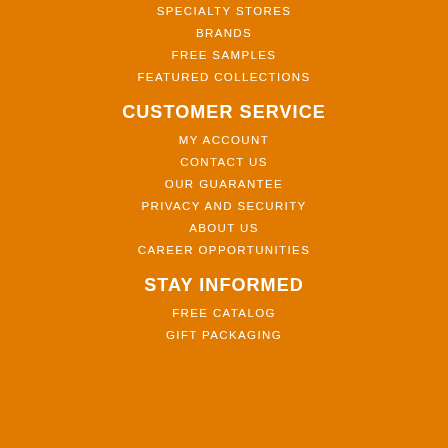SPECIALTY STORES
BRANDS
FREE SAMPLES
FEATURED COLLECTIONS
CUSTOMER SERVICE
MY ACCOUNT
CONTACT US
OUR GUARANTEE
PRIVACY AND SECURITY
ABOUT US
CAREER OPPORTUNITIES
STAY INFORMED
FREE CATALOG
GIFT PACKAGING